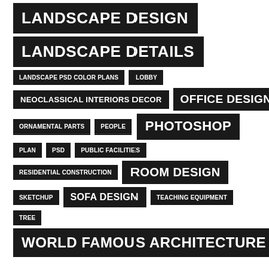LANDSCAPE DESIGN
LANDSCAPE DETAILS
LANDSCAPE PSD COLOR PLANS
LOBBY
NEOCLASSICAL INTERIORS DECOR
OFFICE DESIGN
ORNAMENTAL PARTS
PEOPLE
PHOTOSHOP
PLAN
PSD
PUBLIC FACILITIES
RESIDENTIAL CONSTRUCTION
ROOM DESIGN
SKETCHUP
SOFA DESIGN
TEACHING EQUIPMENT
TREE
WORLD FAMOUS ARCHITECTURE